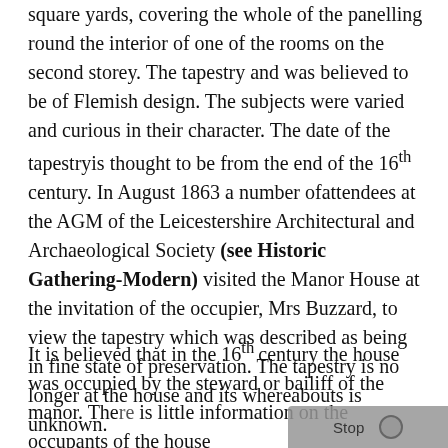There is evidence that a tapestry, consisting of many square yards, covering the whole of the panelling round the interior of one of the rooms on the second storey. The tapestry and was believed to be of Flemish design. The subjects were varied and curious in their character. The date of the tapestryis thought to be from the end of the 16th century. In August 1863 a number ofattendees at the AGM of the Leicestershire Architectural and Archaeological Society (see Historic Gathering-Modern) visited the Manor House at the invitation of the occupier, Mrs Buzzard, to view the tapestry which was described as being in fine state of preservation. The tapestry is no longer at the house and its whereabouts is unknown.
It is believed that in the 16th century the house was occupied by the steward or bailiff of the manor. There is little information on the occupants of the house